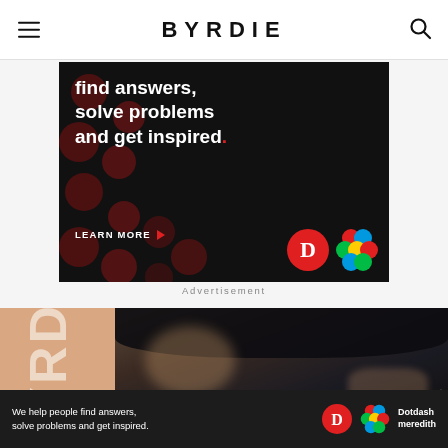BYRDIE
[Figure (screenshot): Dark advertisement banner with text 'find answers, solve problems and get inspired.' and LEARN MORE button, with Dotdash Meredith logos]
Advertisement
[Figure (photo): Woman blowing a kiss, wearing jewelry, photographed against dark background, with a peach-colored Byrdie branded side panel showing letters Y, R, D]
Ad
[Figure (screenshot): Bottom advertisement bar: 'We help people find answers, solve problems and get inspired.' with Dotdash meredith logo]